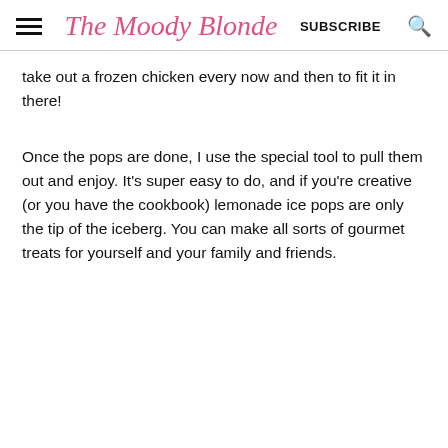The Moody Blonde  SUBSCRIBE
take out a frozen chicken every now and then to fit it in there!
Once the pops are done, I use the special tool to pull them out and enjoy. It's super easy to do, and if you're creative (or you have the cookbook) lemonade ice pops are only the tip of the iceberg. You can make all sorts of gourmet treats for yourself and your family and friends.